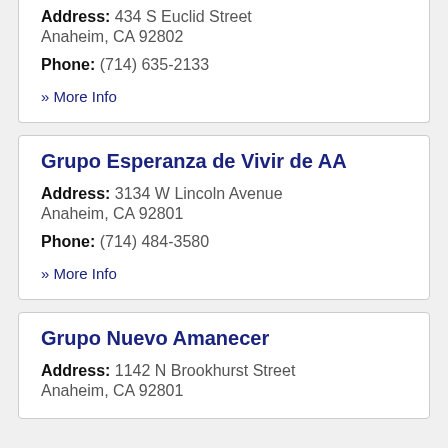Address: 434 S Euclid Street Anaheim, CA 92802
Phone: (714) 635-2133
» More Info
Grupo Esperanza de Vivir de AA
Address: 3134 W Lincoln Avenue Anaheim, CA 92801
Phone: (714) 484-3580
» More Info
Grupo Nuevo Amanecer
Address: 1142 N Brookhurst Street Anaheim, CA 92801